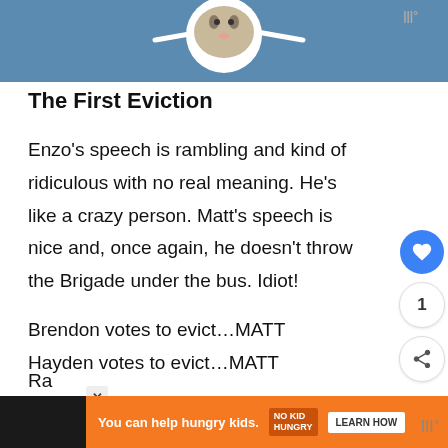[Figure (photo): Top banner with blue background showing a cat sticker in the center and two white diagonal lines on either side, with a logo in the top right corner.]
The First Eviction
Enzo’s speech is rambling and kind of ridiculous with no real meaning. He’s like a crazy person. Matt’s speech is nice and, once again, he doesn’t throw the Brigade under the bus. Idiot!
Brendon votes to evict…MATT
Hayden votes to evict…MATT
Ra
[Figure (other): Orange advertisement banner at the bottom: 'You can help hungry kids. NO KID HUNGRY LEARN HOW' with a close button.]